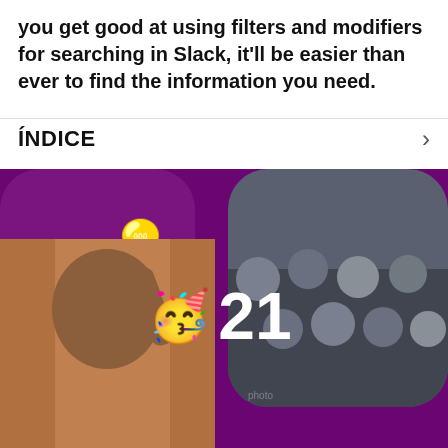you get good at using filters and modifiers for searching in Slack, it'll be easier than ever to find the information you need.
ÍNDICE
[Figure (infographic): Purple background infographic with circular/rounded shapes containing: a lightbulb emoji (💡) in top-left rounded square, a photo of a woman waving/clapping on the left, a photo of a seated audience on the right, and a rounded pill at the bottom center showing a party face emoji (🥳) and the number 21.]